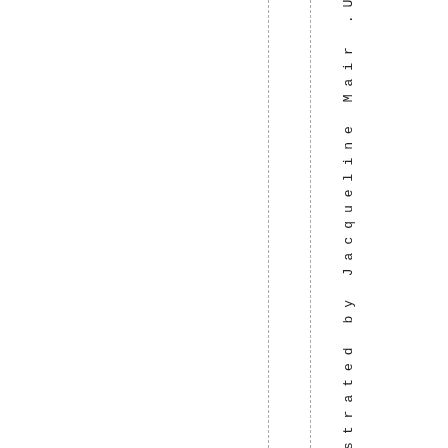strated by Jacqueline Mair .USFLI_B